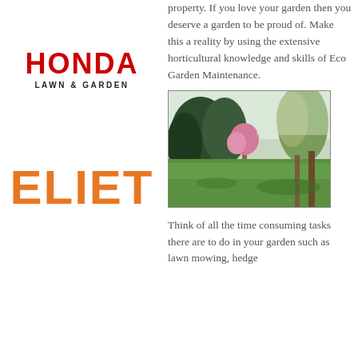[Figure (logo): Honda Lawn & Garden logo in red bold text with subtitle]
[Figure (logo): ELIET logo in bold orange serif letters]
property. If you love your garden then you deserve a garden to be proud of. Make this a reality by using the extensive horticultural knowledge and skills of Eco Garden Maintenance.
[Figure (photo): Photograph of a well-maintained garden with green lawn, trees and flowering shrubs]
Think of all the time consuming tasks there are to do in your garden such as lawn mowing, hedge